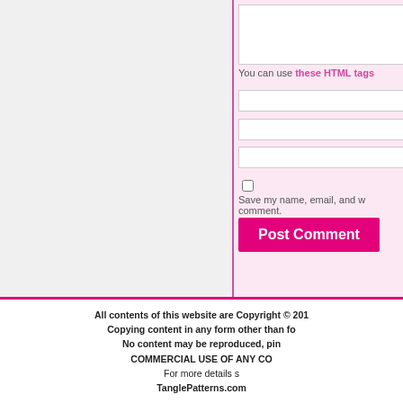You can use these HTML tags
Save my name, email, and website in this browser for the next time I comment.
Post Comment
« How to draw DEWD
All contents of this website are Copyright © 201... Copying content in any form other than fo... No content may be reproduced, pin... COMMERCIAL USE OF ANY CO... For more details s... TanglePatterns.com ...